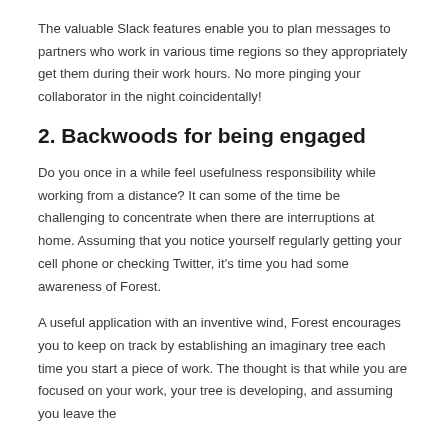The valuable Slack features enable you to plan messages to partners who work in various time regions so they appropriately get them during their work hours. No more pinging your collaborator in the night coincidentally!
2. Backwoods for being engaged
Do you once in a while feel usefulness responsibility while working from a distance? It can some of the time be challenging to concentrate when there are interruptions at home. Assuming that you notice yourself regularly getting your cell phone or checking Twitter, it's time you had some awareness of Forest.
A useful application with an inventive wind, Forest encourages you to keep on track by establishing an imaginary tree each time you start a piece of work. The thought is that while you are focused on your work, your tree is developing, and assuming you leave the